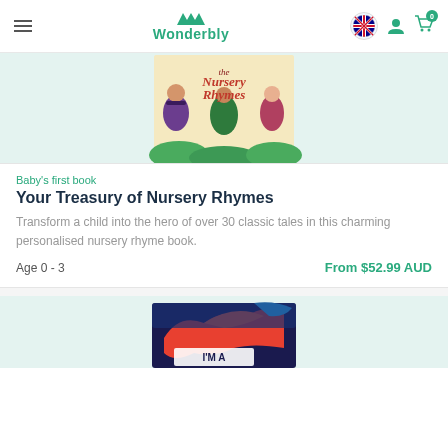Wonderbly navigation bar with hamburger menu, logo, Australian flag, user icon, and cart (0 items)
[Figure (photo): Book cover of 'Your Treasury of Nursery Rhymes' showing illustrated nursery rhyme characters on a light teal background]
Baby's first book
Your Treasury of Nursery Rhymes
Transform a child into the hero of over 30 classic tales in this charming personalised nursery rhyme book.
Age 0 - 3
From $52.99 AUD
[Figure (photo): Partial view of a dragon-themed book cover with 'I'M A' text visible at the bottom of the page]